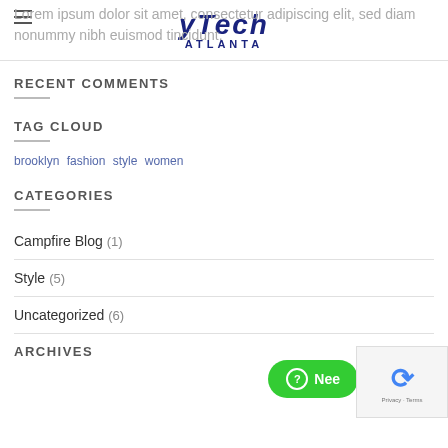y Tech Atlanta
Lorem ipsum dolor sit amet, consectetur adipiscing elit, sed diam nonummy nibh euismod tincidunt.
RECENT COMMENTS
TAG CLOUD
brooklyn fashion style women
CATEGORIES
Campfire Blog (1)
Style (5)
Uncategorized (6)
ARCHIVES